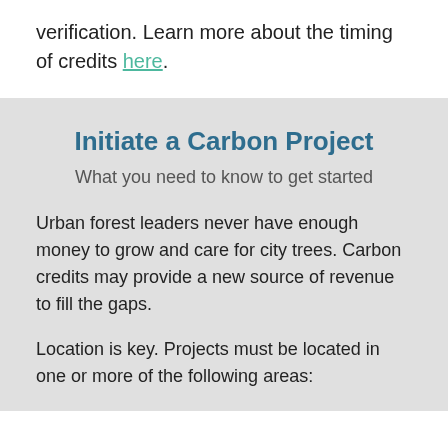verification. Learn more about the timing of credits here.
Initiate a Carbon Project
What you need to know to get started
Urban forest leaders never have enough money to grow and care for city trees. Carbon credits may provide a new source of revenue to fill the gaps.
Location is key. Projects must be located in one or more of the following areas: